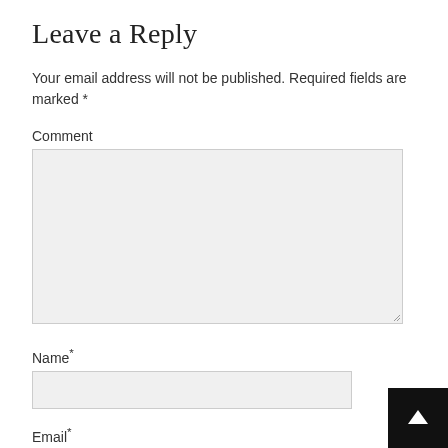Leave a Reply
Your email address will not be published. Required fields are marked *
Comment
[Figure (screenshot): Comment textarea input field, empty, with light gray background and resize handle in bottom-right corner]
Name*
[Figure (screenshot): Name text input field, empty, with light gray background]
Email*
[Figure (screenshot): Email text input field, partially visible, with light gray background]
[Figure (other): Back to top button, black square with white upward arrow, bottom-right corner]